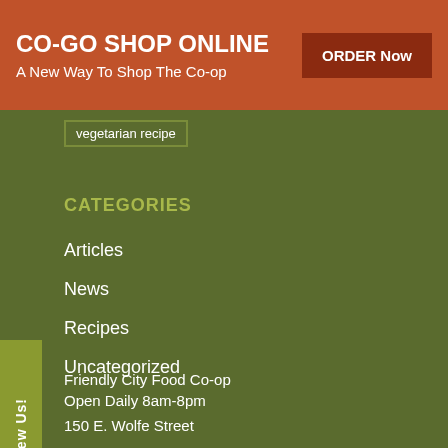CO-GO SHOP ONLINE
A New Way To Shop The Co-op
ORDER Now
vegetarian recipe
CATEGORIES
Articles
News
Recipes
Uncategorized
Review Us!
Friendly City Food Co-op
Open Daily 8am-8pm

150 E. Wolfe Street